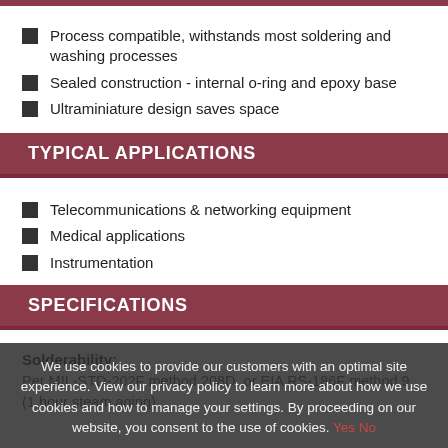Process compatible, withstands most soldering and washing processes
Sealed construction - internal o-ring and epoxy base
Ultraminiature design saves space
TYPICAL APPLICATIONS
Telecommunications & networking equipment
Medical applications
Instrumentation
SPECIFICATIONS
Solderability:
Per MIL-STD-202F method 208D, or EIA RS-186F method 9 (1 hour steam aging)
Electrical Life:
10,000 make and break cycles at full load
We use cookies to provide our customers with an optimal site experience. View our privacy policy to learn more about how we use cookies and how to manage your settings. By proceeding on our website, you consent to the use of cookies. Yes No